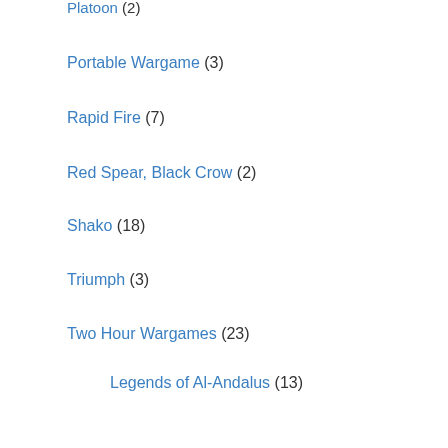Platoon (2)
Portable Wargame (3)
Rapid Fire (7)
Red Spear, Black Crow (2)
Shako (18)
Triumph (3)
Two Hour Wargames (23)
Legends of Al-Andalus (13)
Volley and Bayonet (7)
Warmaster Historical (9)
Scenario Books (6)
Solo Wargames (5)
Steven's Armies (51)
Tilly's Very Bad Day (68)